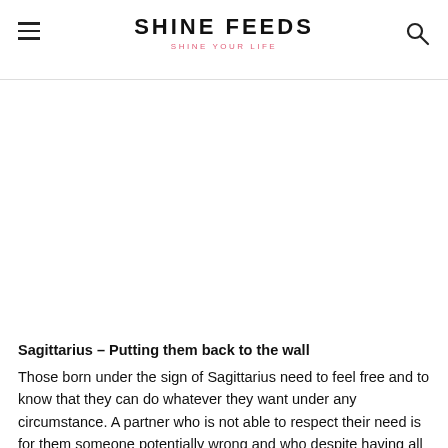SHINE FEEDS — SHINE YOUR LIFE
Sagittarius – Putting them back to the wall
Those born under the sign of Sagittarius need to feel free and to know that they can do whatever they want under any circumstance. A partner who is not able to respect their need is for them someone potentially wrong and who despite having all the